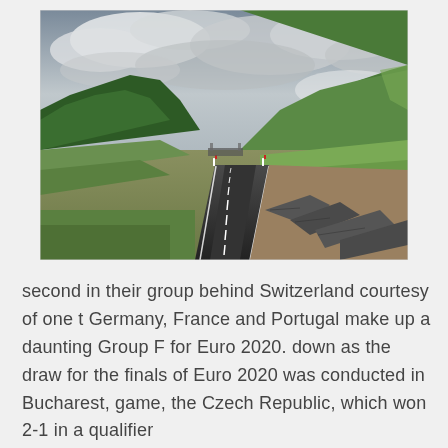[Figure (photo): Photograph of a wet rural road stretching into the distance, flanked by green rolling hills and mountains with low clouds. A stone wall runs along the right side of the road. Overcast sky with dramatic clouds.]
second in their group behind Switzerland courtesy of one t Germany, France and Portugal make up a daunting Group F for Euro 2020. down as the draw for the finals of Euro 2020 was conducted in Bucharest, game, the Czech Republic, which won 2-1 in a qualifier